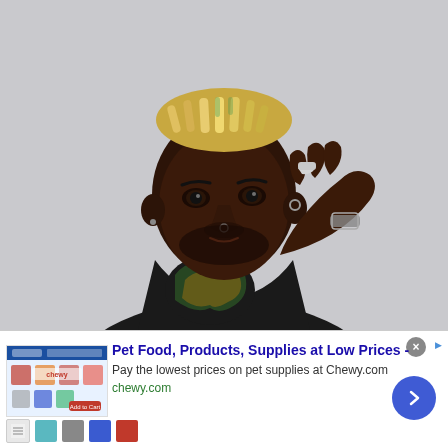[Figure (photo): Portrait photo of a young Black man with bleached/blonde dreadlocks, wearing a black button-up shirt with a colorful dragon graphic, resting his hand on his chin, wearing a silver ring and bracelet, against a light gray background.]
[Figure (screenshot): Advertisement banner for Chewy.com: 'Pet Food, Products, Supplies at Low Prices -' with description 'Pay the lowest prices on pet supplies at Chewy.com' and URL 'chewy.com'. Shows a thumbnail image of the Chewy website with product images, a close button (X), AdChoices icon, and a blue circular arrow button.]